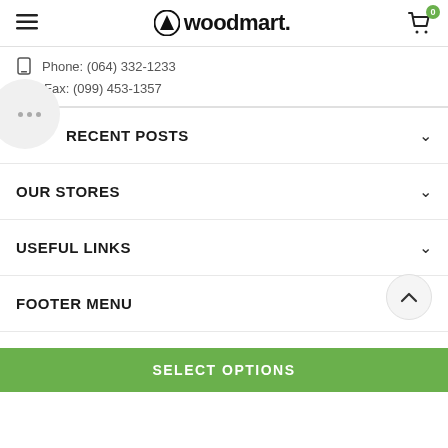woodmart. — navigation header with hamburger menu and cart icon
Phone: (064) 332-1233
Fax: (099) 453-1357
RECENT POSTS
OUR STORES
USEFUL LINKS
FOOTER MENU
WOODMART © 2022 CREATED BY XTEMOS STUDIO. PREMIUM E-COMMERCE
SELECT OPTIONS